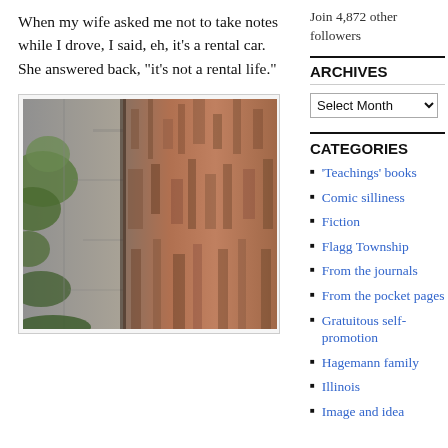When my wife asked me not to take notes while I drove, I said, eh, it’s a rental car. She answered back, “it’s not a rental life.”
[Figure (photo): Close-up photograph of tree bark, showing rough reddish-brown bark texture with some green foliage visible on the left side.]
Join 4,872 other followers
ARCHIVES
Select Month
CATEGORIES
'Teachings' books
Comic silliness
Fiction
Flagg Township
From the journals
From the pocket pages
Gratuitous self-promotion
Hagemann family
Illinois
Image and idea